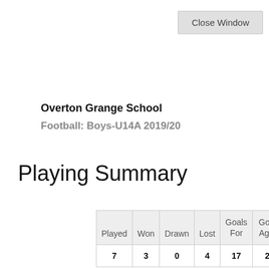Close Window
Overton Grange School
Football: Boys-U14A 2019/20
Playing Summary
| Played | Won | Drawn | Lost | Goals For | Goals Against |
| --- | --- | --- | --- | --- | --- |
| 7 | 3 | 0 | 4 | 17 | 28 |